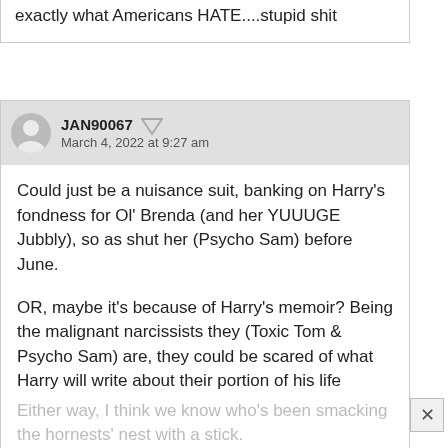exactly what Americans HATE....stupid shit
JAN90067
March 4, 2022 at 9:27 am
Could just be a nuisance suit, banking on Harry's fondness for Ol' Brenda (and her YUUUGE Jubbly), so as shut her (Psycho Sam) before June.

OR, maybe it's because of Harry's memoir? Being the malignant narcissists they (Toxic Tom & Psycho Sam) are, they could be scared of what Harry will write about their portion of his life (because it's ALL about them, of course!). This could be a "I wont sue if you won't write this or that" quid pro quo.
Either way, I think we know who's been smacking the hornests' nest with a stick.